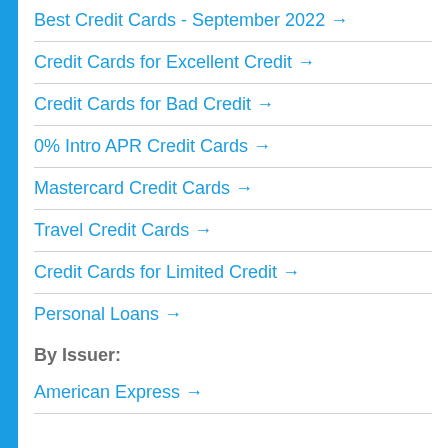Best Credit Cards - September 2022 →
Credit Cards for Excellent Credit →
Credit Cards for Bad Credit →
0% Intro APR Credit Cards →
Mastercard Credit Cards →
Travel Credit Cards →
Credit Cards for Limited Credit →
Personal Loans →
By Issuer:
American Express →